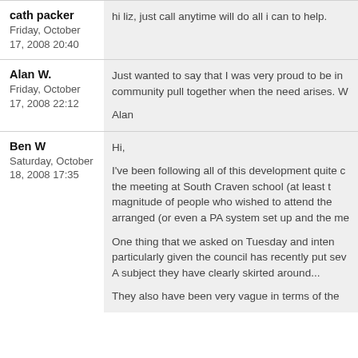cath packer
Friday, October 17, 2008 20:40
hi liz, just call anytime will do all i can to help.
Alan W.
Friday, October 17, 2008 22:12
Just wanted to say that I was very proud to be in community pull together when the need arises. W

Alan
Ben W
Saturday, October 18, 2008 17:35
Hi,

I've been following all of this development quite c the meeting at South Craven school (at least t magnitude of people who wished to attend the arranged (or even a PA system set up and the me

One thing that we asked on Tuesday and inten particularly given the council has recently put sev A subject they have clearly skirted around...

They also have been very vague in terms of the